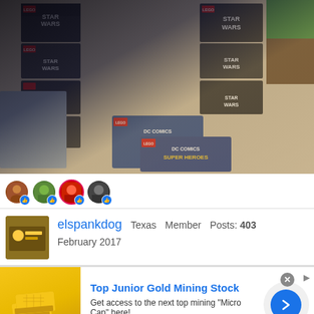[Figure (photo): Photo of multiple LEGO sets including Star Wars and DC Super Heroes boxes, plus Mixels polybags, arranged on a carpet floor.]
[Figure (screenshot): Row of four user reaction avatars with thumbs-up like icons below the photo.]
elspankdog  Texas  Member  Posts: 403
February 2017
[Figure (screenshot): Advertisement banner: 'Top Junior Gold Mining Stock - Get access to the next top mining "Micro Cap" here! www.rivres.com' with gold bar image and blue arrow button.]